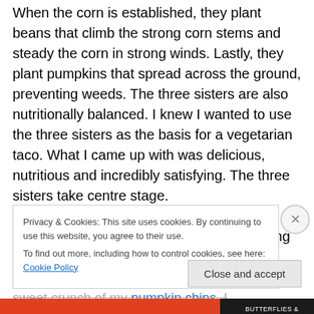When the corn is established, they plant beans that climb the strong corn stems and steady the corn in strong winds. Lastly, they plant pumpkins that spread across the ground, preventing weeds. The three sisters are also nutritionally balanced. I knew I wanted to use the three sisters as the basis for a vegetarian taco. What I came up with was delicious, nutritious and incredibly satisfying. The three sisters take centre stage.
I slow cooked the beans with taco seasoning and mulato chilli. They provided a rich and meaty base for the taco, to which I added the sweet crunch of my pumpkin chips. I
Privacy & Cookies: This site uses cookies. By continuing to use this website, you agree to their use.
To find out more, including how to control cookies, see here: Cookie Policy
Close and accept